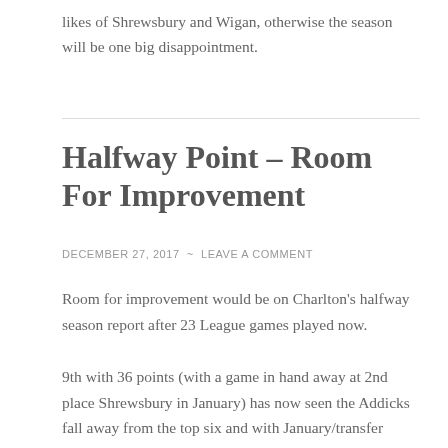likes of Shrewsbury and Wigan, otherwise the season will be one big disappointment.
Halfway Point – Room For Improvement
DECEMBER 27, 2017  ~  LEAVE A COMMENT
Room for improvement would be on Charlton's halfway season report after 23 League games played now.
9th with 36 points (with a game in hand away at 2nd place Shrewsbury in January) has now seen the Addicks fall away from the top six and with January/transfer window on the